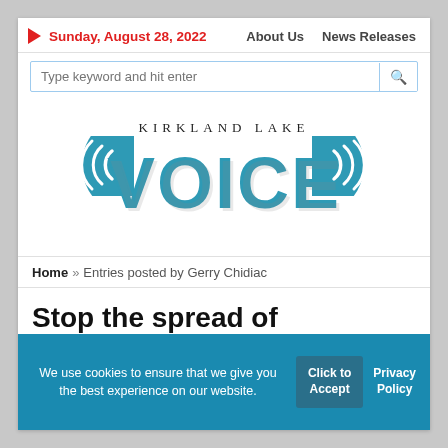Sunday, August 28, 2022   About Us   News Releases
[Figure (logo): Kirkland Lake Voice newspaper logo with teal speaker/sound wave icons on either side of the word VOICE in large teal letters, with KIRKLAND LAKE in small spaced caps above]
Home » Entries posted by Gerry Chidiac
Stop the spread of American fascism f…
We use cookies to ensure that we give you the best experience on our website.   Click to Accept   Privacy Policy